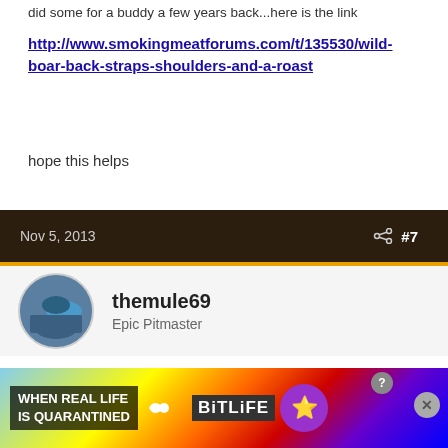did some for a buddy a few years back...here is the link
http://www.smokingmeatforums.com/t/135530/wild-boar-back-straps-shoulders-and-a-roast
hope this helps
Nov 5, 2013  #7
themule69
Epic Pitmaster
I use wild hog the same way I use store bought. As said above it is very lean. It makes good PP and great sausage.
Happy smoker
David